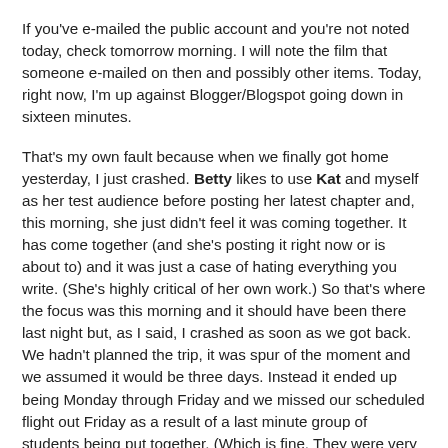If you've e-mailed the public account and you're not noted today, check tomorrow morning. I will note the film that someone e-mailed on then and possibly other items. Today, right now, I'm up against Blogger/Blogspot going down in sixteen minutes.
That's my own fault because when we finally got home yesterday, I just crashed. Betty likes to use Kat and myself as her test audience before posting her latest chapter and, this morning, she just didn't feel it was coming together. It has come together (and she's posting it right now or is about to) and it was just a case of hating everything you write. (She's highly critical of her own work.) So that's where the focus was this morning and it should have been there last night but, as I said, I crashed as soon as we got back. We hadn't planned the trip, it was spur of the moment and we assumed it would be three days. Instead it ended up being Monday through Friday and we missed our scheduled flight out Friday as a result of a last minute group of students being put together. (Which is fine. They were very interested in discussing Iraq.) But between that, the freezing cold (I hate the cold) and misadventures and hijinks in traveling, it